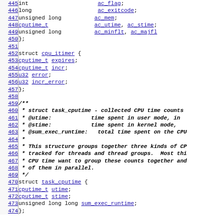Source code listing lines 445-474 showing C struct definitions: acct_collect struct fields (ac_flag, ac_exitcode, ac_mem, ac_utime/ac_stime, ac_minflt/ac_majfl), cpu_itimer struct (cputime_t expires, cputime_t incr, u32 error, u32 incr_error), kernel doc comment for task_cputime struct, and task_cputime struct (cputime_t utime, cputime_t stime, unsigned long long sum_exec_runtime)